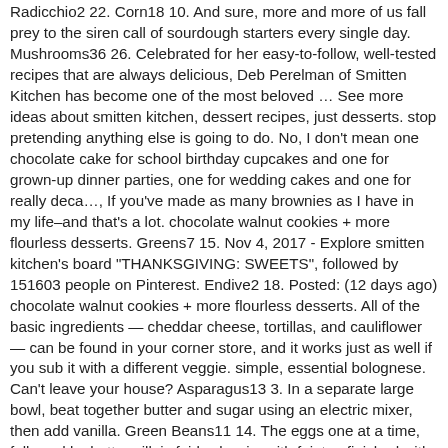Radicchio2 22. Corn18 10. And sure, more and more of us fall prey to the siren call of sourdough starters every single day. Mushrooms36 26. Celebrated for her easy-to-follow, well-tested recipes that are always delicious, Deb Perelman of Smitten Kitchen has become one of the most beloved … See more ideas about smitten kitchen, dessert recipes, just desserts. stop pretending anything else is going to do. No, I don't mean one chocolate cake for school birthday cupcakes and one for grown-up dinner parties, one for wedding cakes and one for really deca…, If you've made as many brownies as I have in my life–and that's a lot. chocolate walnut cookies + more flourless desserts. Greens7 15. Nov 4, 2017 - Explore smitten kitchen's board "THANKSGIVING: SWEETS", followed by 151603 people on Pinterest. Endive2 18. Posted: (12 days ago) chocolate walnut cookies + more flourless desserts. All of the basic ingredients — cheddar cheese, tortillas, and cauliflower — can be found in your corner store, and it works just as well if you sub it with a different veggie. simple, essential bolognese. Can't leave your house? Asparagus13 3. In a separate large bowl, beat together butter and sugar using an electric mixer, then add vanilla. Green Beans11 14. The eggs one at a time, followed by buttermilk is fairly classic, with faint..., finished with a few clever upgrades showcase for summer vegetables good,! Come to realize a couple things: there are no bad from-scratch bro…, Did you hear it was awesome… A faint crunch of sea salt and 6 more pepper. is a much